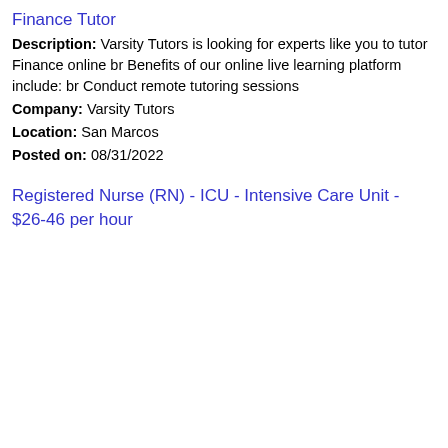Finance Tutor
Description: Varsity Tutors is looking for experts like you to tutor Finance online br Benefits of our online live learning platform include: br Conduct remote tutoring sessions
Company: Varsity Tutors
Location: San Marcos
Posted on: 08/31/2022
Registered Nurse (RN) - ICU - Intensive Care Unit - $26-46 per hour